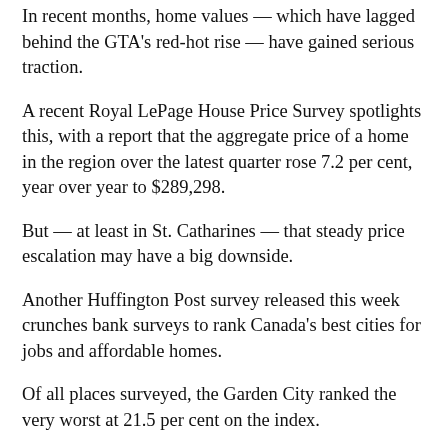In recent months, home values — which have lagged behind the GTA's red-hot rise — have gained serious traction.
A recent Royal LePage House Price Survey spotlights this, with a report that the aggregate price of a home in the region over the latest quarter rose 7.2 per cent, year over year to $289,298.
But — at least in St. Catharines — that steady price escalation may have a big downside.
Another Huffington Post survey released this week crunches bank surveys to rank Canada's best cities for jobs and affordable homes.
Of all places surveyed, the Garden City ranked the very worst at 21.5 per cent on the index.
The measure calculates the jobs and housing price balance using data from Bank of Montreal's Labour Market Report Card and home-affordability indexes